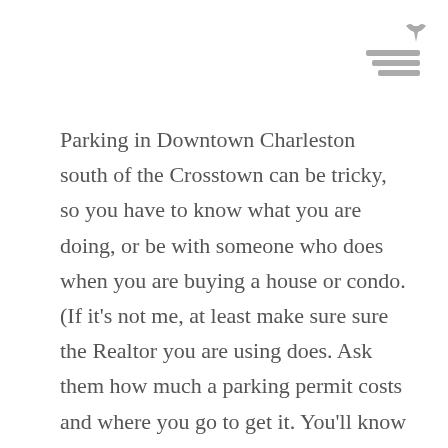[Figure (other): Hamburger menu icon with three horizontal bars and a small arrow/pin icon in the top-right corner]
Parking in Downtown Charleston south of the Crosstown can be tricky, so you have to know what you are doing, or be with someone who does when you are buying a house or condo. (If it's not me, at least make sure sure the Realtor you are using does. Ask them how much a parking permit costs and where you go to get it. You'll know by their answer.)
Having dedicated off-street parking is not a big deal in some areas, but is essential in others. Our condo does not have it, and the only time I can't find a space directly in front of it, is when I have an enormous load of groceries. Murphy's Law I guess. If you are buying a home, understand that the vast